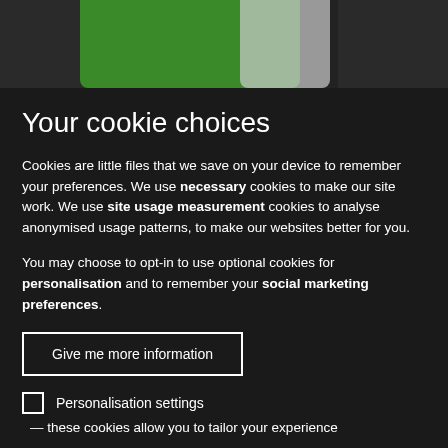[Figure (photo): A photo strip showing what appears to be a hand holding a green and white object, cropped to show only the top portion]
Your cookie choices
Cookies are little files that we save on your device to remember your preferences. We use necessary cookies to make our site work. We use site usage measurement cookies to analyse anonymised usage patterns, to make our websites better for you.
You may choose to opt-in to use optional cookies for personalisation and to remember your social marketing preferences.
Give me more information
Personalisation settings
— these cookies allow you to tailor your experience